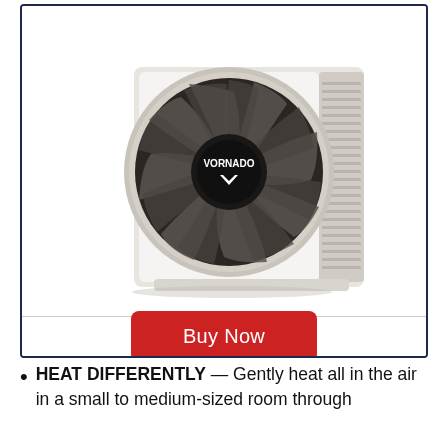[Figure (photo): A Vornado space heater — white boxy body with a circular fan grille featuring spiral blades and a black center hub with the Vornado logo. The right side has vertical ventilation slats.]
Buy Now
HEAT DIFFERENTLY — Gently heat all in the air in a small to medium-sized room through